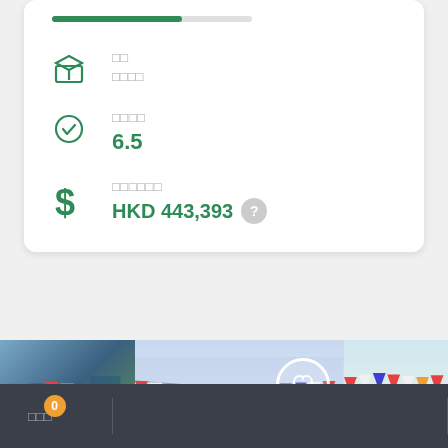[Figure (infographic): Progress bar (green fill on grey background)]
□□
□□□□
□□□□
6.5
□□□□□□
HKD 443,393
[Figure (photo): Outdoor festival scene with colorful bunting triangular flags in red, white, blue and orange]
□□□
0